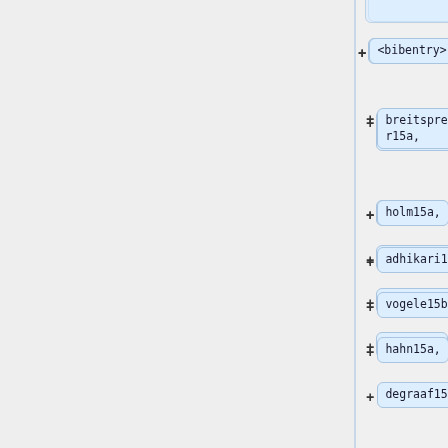[Figure (flowchart): A tree/hierarchy diagram showing bibliography entries as expandable nodes with + buttons. Nodes include: <bibentry>, breitsprecher15a, holm15a, adhikari15a, vogele15b, hahn15a, degraaf15c, fahrenberger15c, kosovan15a, lesch15b, pessot15a]
<bibentry>
breitsprecher15a,
holm15a,
adhikari15a,
vogele15b,
hahn15a,
degraaf15c,
fahrenberger15c,
kosovan15a,
lesch15b,
pessot15a,